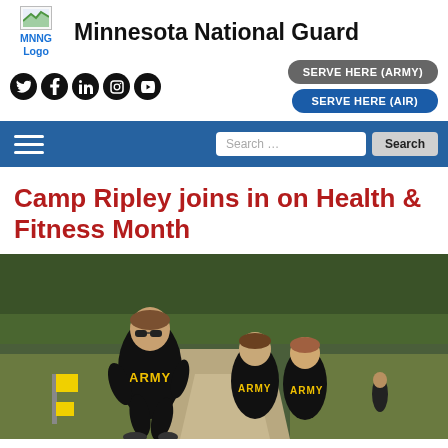[Figure (logo): MNNG Logo - Minnesota National Guard logo placeholder]
Minnesota National Guard
[Figure (infographic): Social media icons: Twitter, Facebook, LinkedIn, Instagram, YouTube]
[Figure (infographic): SERVE HERE (ARMY) and SERVE HERE (AIR) buttons]
Search ...
Camp Ripley joins in on Health & Fitness Month
[Figure (photo): Three soldiers in black ARMY t-shirts and shorts running on a dirt path with trees in the background. A yellow flag is visible on the left side.]